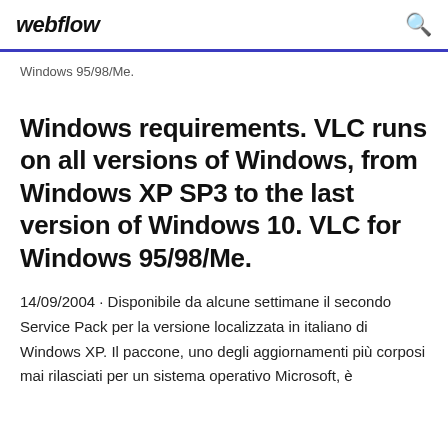webflow
Windows 95/98/Me.
Windows requirements. VLC runs on all versions of Windows, from Windows XP SP3 to the last version of Windows 10. VLC for Windows 95/98/Me.
14/09/2004 · Disponibile da alcune settimane il secondo Service Pack per la versione localizzata in italiano di Windows XP. Il paccone, uno degli aggiornamenti più corposi mai rilasciati per un sistema operativo Microsoft, è